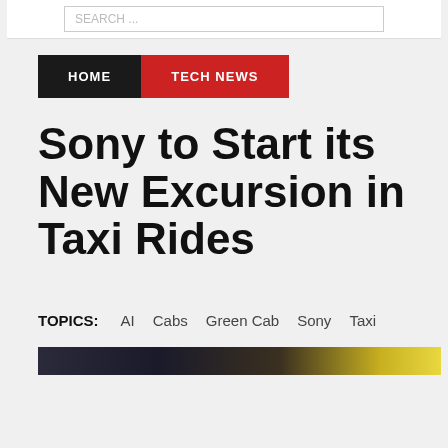SEARCH ...
HOME  TECH NEWS
Sony to Start its New Excursion in Taxi Rides
TOPICS:  AI  Cabs  Green Cab  Sony  Taxi
[Figure (photo): Partial photo strip showing a dark image, possibly of a taxi or vehicle at night with yellow/golden light]